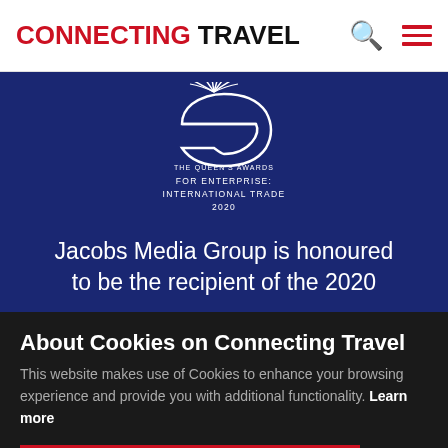CONNECTING TRAVEL
[Figure (logo): The Queen's Awards for Enterprise: International Trade 2020 emblem — white stylized letter e with feathers on dark blue background, with text 'THE QUEEN'S AWARDS FOR ENTERPRISE: INTERNATIONAL TRADE 2020']
Jacobs Media Group is honoured to be the recipient of the 2020
About Cookies on Connecting Travel
This website makes use of Cookies to enhance your browsing experience and provide you with additional functionality. Learn more
ACCEPT AND CLOSE